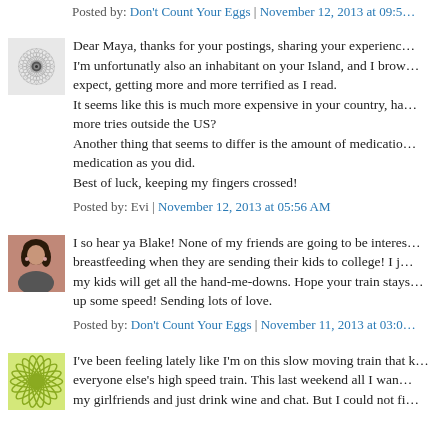Posted by: Don't Count Your Eggs | November 12, 2013 at 09:5…
Dear Maya, thanks for your postings, sharing your experience… I'm unfortunatly also an inhabitant on your Island, and I brow… expect, getting more and more terrified as I read. It seems like this is much more expensive in your country, ha… more tries outside the US? Another thing that seems to differ is the amount of medicatio… medication as you did. Best of luck, keeping my fingers crossed!
Posted by: Evi | November 12, 2013 at 05:56 AM
I so hear ya Blake! None of my friends are going to be interes… breastfeeding when they are sending their kids to college! I j… my kids will get all the hand-me-downs. Hope your train stays… up some speed! Sending lots of love.
Posted by: Don't Count Your Eggs | November 11, 2013 at 03:0…
I've been feeling lately like I'm on this slow moving train that k… everyone else's high speed train. This last weekend all I wan… my girlfriends and just drink wine and chat. But I could not fi…